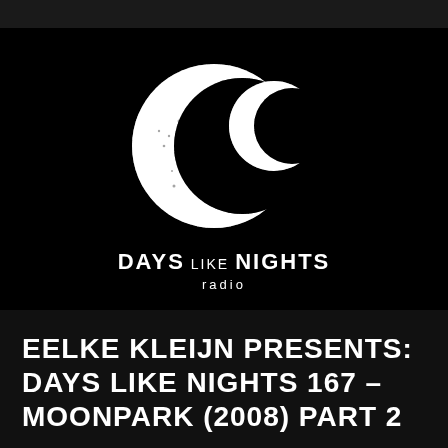[Figure (logo): Days Like Nights Radio logo — a white distressed crescent moon shape with a smaller white crescent/circle to its right, on a black background, with 'DAYS LIKE NIGHTS radio' text below]
EELKE KLEIJN PRESENTS: DAYS LIKE NIGHTS 167 – MOONPARK (2008) PART 2